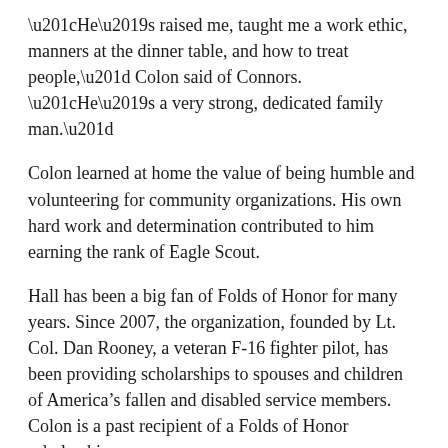“He’s raised me, taught me a work ethic, manners at the dinner table, and how to treat people,” Colon said of Connors. “He’s a very strong, dedicated family man.”
Colon learned at home the value of being humble and volunteering for community organizations. His own hard work and determination contributed to him earning the rank of Eagle Scout.
Hall has been a big fan of Folds of Honor for many years. Since 2007, the organization, founded by Lt. Col. Dan Rooney, a veteran F-16 fighter pilot, has been providing scholarships to spouses and children of America’s fallen and disabled service members. Colon is a past recipient of a Folds of Honor scholarship.
Hall, in her third year coaching at Illinois State, said a different Redbird player carries the bag at each tournament. After the golf season, the plan is to